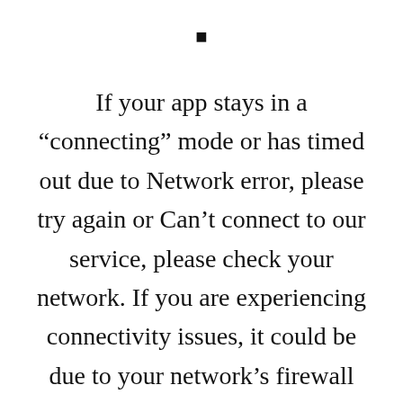■
If your app stays in a “connecting” mode or has timed out due to Network error, please try again or Can’t connect to our service, please check your network. If you are experiencing connectivity issues, it could be due to your network’s firewall settings or anti-virus software. These articles provide how-to.